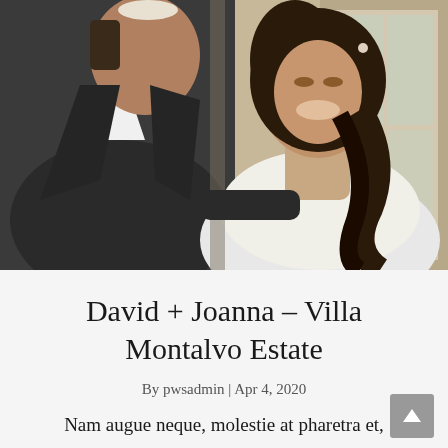[Figure (photo): A couple at their wedding ceremony. The groom, in a dark suit with a kippah, faces a smiling bride in a white lace dress with long dark wavy hair. They appear to be sharing a moment indoors near large windows.]
David + Joanna – Villa Montalvo Estate
By pwsadmin | Apr 4, 2020
Nam augue neque, molestie at pharetra et,